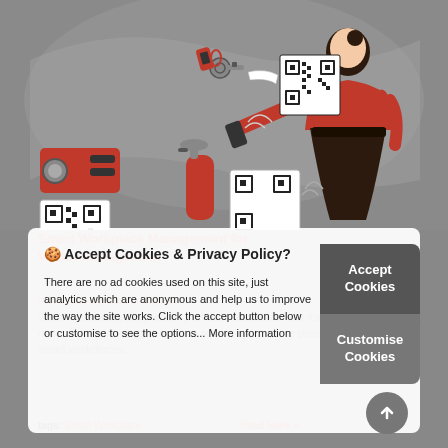[Figure (illustration): Smart workplace illustration showing a woman in red scanning QR codes on objects (keys, projector, fire extinguisher) with a smartphone. Gray background with wavy shapes.]
Smart Workplace Management for Visitor Management
Posted: 18 Aug '2021 by Yogesh
We all want everything working smarter and harder but it's no longer just about make sure technology is working or managing where possible. We're talking smart workplaces.
🍪 Accept Cookies & Privacy Policy?
There are no ad cookies used on this site, just analytics which are anonymous and help us to improve the way the site works. Click the accept button below or customise to see the options... More information
tags: Smart Workplace
Read More »